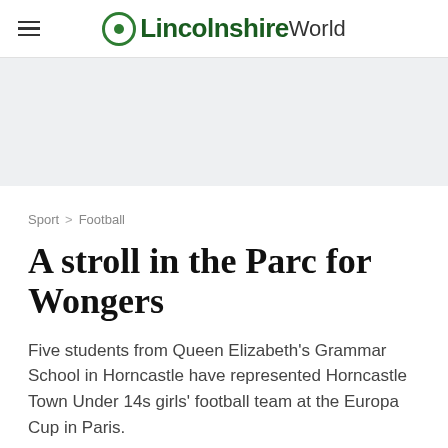LincolnshireWorld
Sport > Football
A stroll in the Parc for Wongers
Five students from Queen Elizabeth's Grammar School in Horncastle have represented Horncastle Town Under 14s girls' football team at the Europa Cup in Paris.